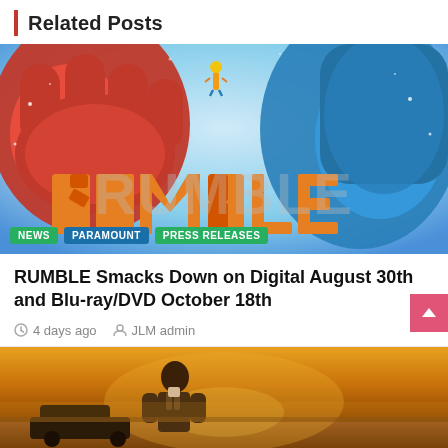Related Posts
[Figure (photo): Movie poster for RUMBLE animated film showing giant monster fists and the RUMBLE logo in large orange letters against a dramatic background. Tags overlay at bottom: NEWS, PARAMOUNT, PRESS RELEASES.]
RUMBLE Smacks Down on Digital August 30th and Blu-ray/DVD October 18th
4 days ago  JLM admin
[Figure (photo): Movie still or poster showing a person in a desert/outdoor setting with warm golden lighting.]